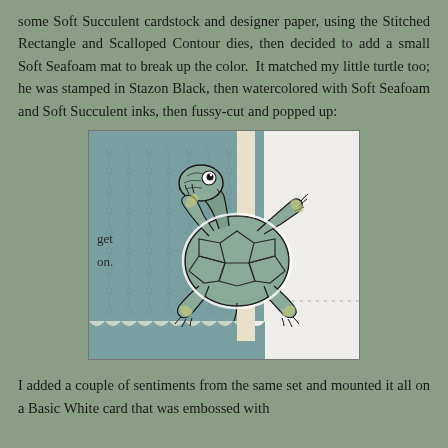some Soft Succulent cardstock and designer paper, using the Stitched Rectangle and Scalloped Contour dies, then decided to add a small Soft Seafoam mat to break up the color. It matched my little turtle too; he was stamped in Stazon Black, then watercolored with Soft Seafoam and Soft Succulent inks, then fussy-cut and popped up:
[Figure (photo): Close-up photo of a handmade greeting card featuring a watercolored turtle stamped in black ink, fussy-cut and popped up on a teal/seafoam patterned cardstock with scalloped edges. The turtle appears upside down with legs in the air, colored in teal and yellow-green tones.]
I added a couple of sentiments from the same set and mounted it all on a Basic White card that was embossed with